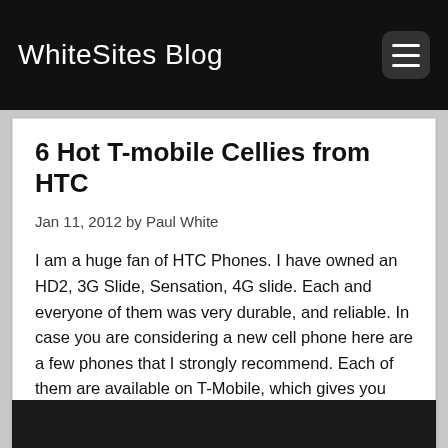WhiteSites Blog
6 Hot T-mobile Cellies from HTC
Jan 11, 2012 by Paul White
I am a huge fan of HTC Phones.  I have owned an HD2, 3G Slide, Sensation, 4G slide.  Each and everyone of them was very durable, and reliable.  In case you are considering a new cell phone here are a few phones that I strongly recommend.  Each of them are available on T-Mobile, which gives you the most service for the least amount of money.
Read | 1 Comments | 4447 Visitors | 4447 Views